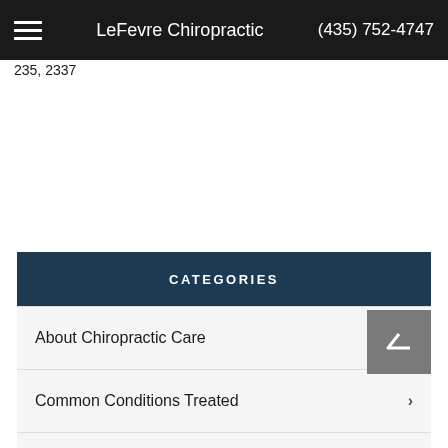LeFevre Chiropractic  (435) 752-4747
235, 2337
CATEGORIES
About Chiropractic Care
Common Conditions Treated
Health & Wellness